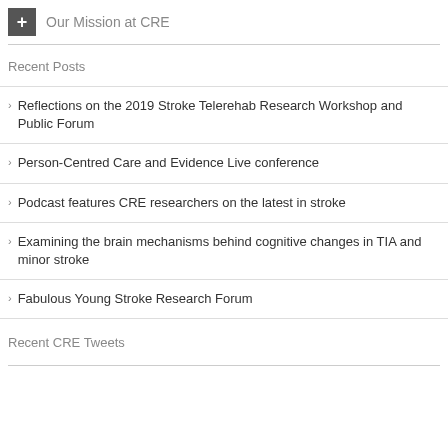Our Mission at CRE
Recent Posts
Reflections on the 2019 Stroke Telerehab Research Workshop and Public Forum
Person-Centred Care and Evidence Live conference
Podcast features CRE researchers on the latest in stroke
Examining the brain mechanisms behind cognitive changes in TIA and minor stroke
Fabulous Young Stroke Research Forum
Recent CRE Tweets